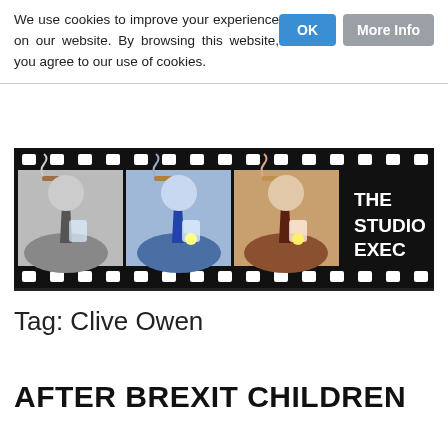We use cookies to improve your experience on our website. By browsing this website, you agree to our use of cookies.
[Figure (logo): The Studio Exec website banner — a film strip with cartoon illustrations of a suited man with cigar and drink glass shown in greyscale, blue-toned, and brown-toned panels, with THE STUDIO EXEC text on a black background.]
Tag: Clive Owen
AFTER BREXIT CHILDREN